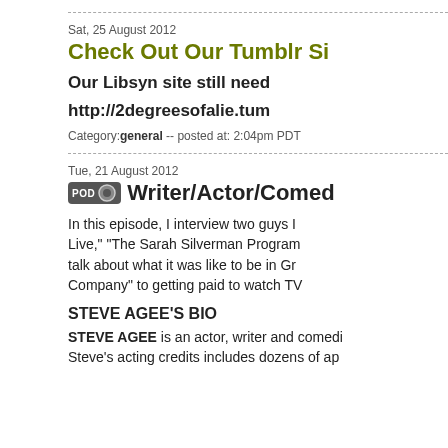Sat, 25 August 2012
Check Out Our Tumblr Si...
Our Libsyn site still need...
http://2degreesofalie.tum...
Category: general -- posted at: 2:04pm PDT
Tue, 21 August 2012
Writer/Actor/Comed...
In this episode, I interview two guys I... Live," "The Sarah Silverman Program... talk about what it was like to be in Gr... Company" to getting paid to watch TV...
STEVE AGEE'S BIO
STEVE AGEE is an actor, writer and comedi... Steve's acting credits includes dozens of ap...